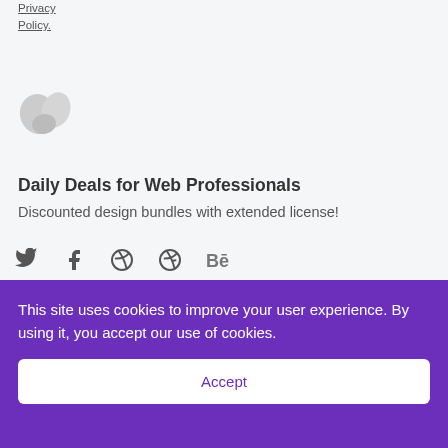Policy.
[Figure (logo): Stylized bird/leaf logo in light gray]
Daily Deals for Web Professionals
Discounted design bundles with extended license!
[Figure (other): Social media icons: Twitter, Facebook, Pinterest, Dribbble, Behance]
This site uses cookies to improve your user experience. By using it, you accept our use of cookies.
Accept